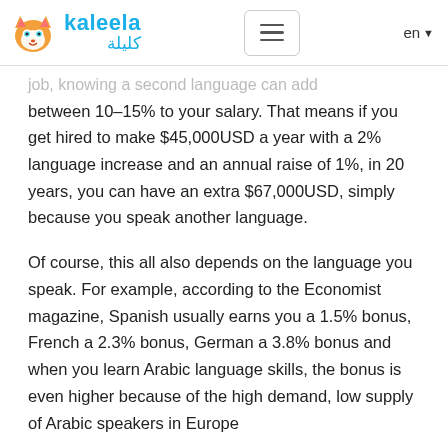kaleela كليلة — en
job, knowing a second language can add between 10–15% to your salary. That means if you get hired to make $45,000USD a year with a 2% language increase and an annual raise of 1%, in 20 years, you can have an extra $67,000USD, simply because you speak another language.
Of course, this all also depends on the language you speak. For example, according to the Economist magazine, Spanish usually earns you a 1.5% bonus, French a 2.3% bonus, German a 3.8% bonus and when you learn Arabic language skills, the bonus is even higher because of the high demand, low supply of Arabic speakers in Europe